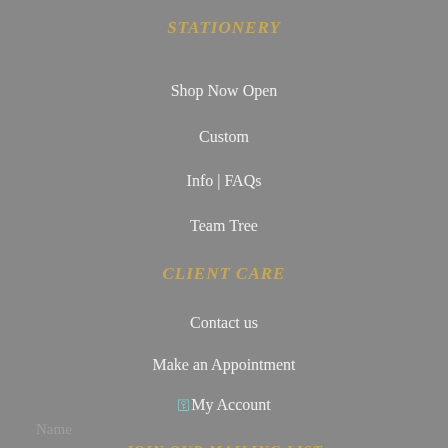STATIONERY
Shop Now Open
Custom
Info | FAQs
Team Tree
CLIENT CARE
Contact us
Make an Appointment
🔒My Account
JOIN OUR MAILING LIST
get our latest posts and promos
Name